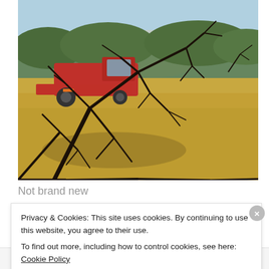[Figure (photo): A red combine harvester working in a golden wheat field, photographed through bare dark branches in the foreground. Trees and blue sky visible in the background with dust rising from the machine.]
Not brand new
Privacy & Cookies: This site uses cookies. By continuing to use this website, you agree to their use.
To find out more, including how to control cookies, see here: Cookie Policy
Close and accept
Follow ...